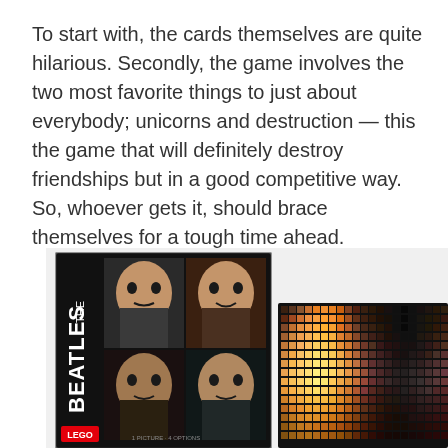To start with, the cards themselves are quite hilarious. Secondly, the game involves the two most favorite things to just about everybody; unicorns and destruction — this the game that will definitely destroy friendships but in a good competitive way. So, whoever gets it, should brace themselves for a tough time ahead.
[Figure (photo): Photo of two LEGO Art products: a LEGO The Beatles set box showing pixelated portraits of the four Beatles members, and a LEGO Art mosaic panel showing a colorful pixelated portrait.]